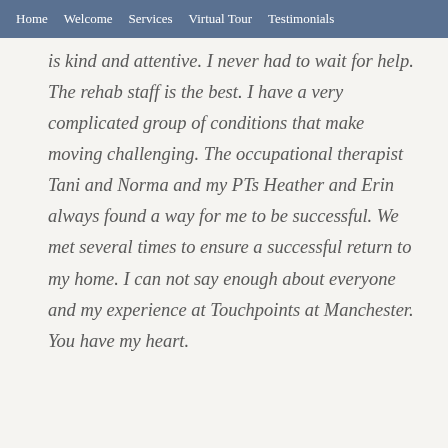Home   Welcome   Services   Virtual Tour   Testimonials
is kind and attentive. I never had to wait for help. The rehab staff is the best. I have a very complicated group of conditions that make moving challenging. The occupational therapist Tani and Norma and my PTs Heather and Erin always found a way for me to be successful. We met several times to ensure a successful return to my home. I can not say enough about everyone and my experience at Touchpoints at Manchester. You have my heart.